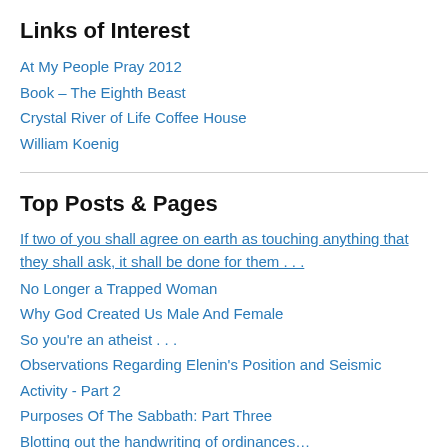Links of Interest
At My People Pray 2012
Book – The Eighth Beast
Crystal River of Life Coffee House
William Koenig
Top Posts & Pages
If two of you shall agree on earth as touching anything that they shall ask, it shall be done for them . . .
No Longer a Trapped Woman
Why God Created Us Male And Female
So you're an atheist . . .
Observations Regarding Elenin's Position and Seismic Activity - Part 2
Purposes Of The Sabbath: Part Three
Blotting out the handwriting of ordinances…
Black and White